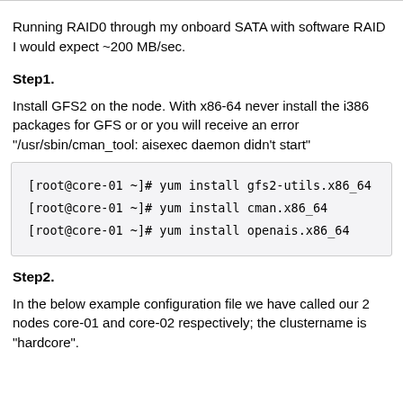Running RAID0 through my onboard SATA with software RAID I would expect ~200 MB/sec.
Step1.
Install GFS2 on the node. With x86-64 never install the i386 packages for GFS or or you will receive an error "/usr/sbin/cman_tool: aisexec daemon didn't start"
[root@core-01 ~]# yum install gfs2-utils.x86_64
[root@core-01 ~]# yum install cman.x86_64
[root@core-01 ~]# yum install openais.x86_64
Step2.
In the below example configuration file we have called our 2 nodes core-01 and core-02 respectively; the clustername is "hardcore".